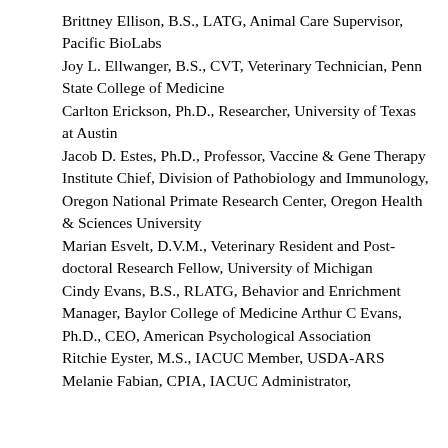Brittney Ellison, B.S., LATG, Animal Care Supervisor, Pacific BioLabs
Joy L. Ellwanger, B.S., CVT, Veterinary Technician, Penn State College of Medicine
Carlton Erickson, Ph.D., Researcher, University of Texas at Austin
Jacob D. Estes, Ph.D., Professor, Vaccine & Gene Therapy Institute Chief, Division of Pathobiology and Immunology, Oregon National Primate Research Center, Oregon Health & Sciences University
Marian Esvelt, D.V.M., Veterinary Resident and Post-doctoral Research Fellow, University of Michigan
Cindy Evans, B.S., RLATG, Behavior and Enrichment Manager, Baylor College of Medicine Arthur C Evans, Ph.D., CEO, American Psychological Association
Ritchie Eyster, M.S., IACUC Member, USDA-ARS
Melanie Fabian, CPIA, IACUC Administrator,